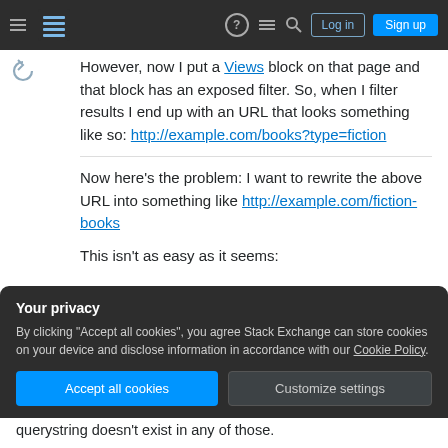Stack Exchange navigation bar with hamburger menu, logo, help, chat, search icons, Log in and Sign up buttons
However, now I put a Views block on that page and that block has an exposed filter. So, when I filter results I end up with an URL that looks something like so: http://example.com/books?type=fiction
Now here's the problem: I want to rewrite the above URL into something like http://example.com/fiction-books
This isn't as easy as it seems:
Your privacy
By clicking "Accept all cookies", you agree Stack Exchange can store cookies on your device and disclose information in accordance with our Cookie Policy.
Accept all cookies  Customize settings
querystring doesn't exist in any of those.